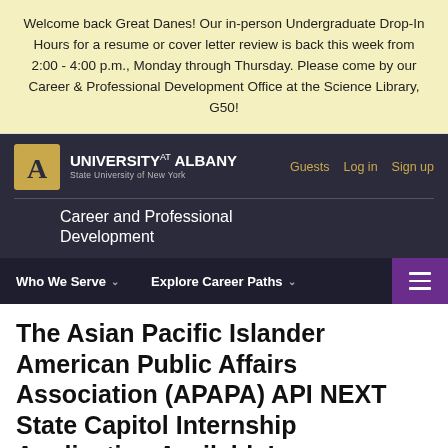Welcome back Great Danes! Our in-person Undergraduate Drop-In Hours for a resume or cover letter review is back this week from 2:00 - 4:00 p.m., Monday through Thursday. Please come by our Career & Professional Development Office at the Science Library, G50!
University at Albany, State University of New York — Career and Professional Development
The Asian Pacific Islander American Public Affairs Association (APAPA) API NEXT State Capitol Internship Application Available!
The Asian Pacific Islander American Public Affairs Association (APAPA) Headquarters and the APAPA Albany Chapter would like to invite students to apply for their Capitol Internship...